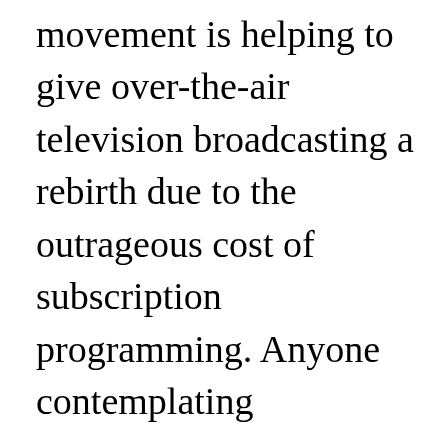movement is helping to give over-the-air television broadcasting a rebirth due to the outrageous cost of subscription programming. Anyone contemplating